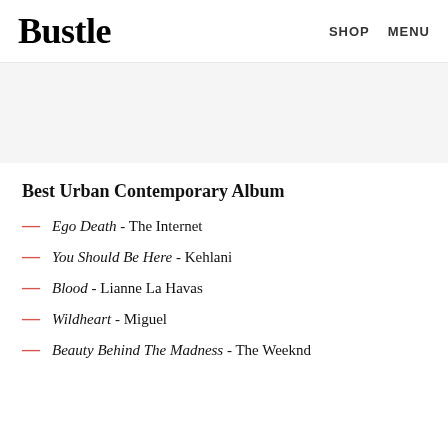Bustle  SHOP  MENU
Best Urban Contemporary Album
Ego Death - The Internet
You Should Be Here - Kehlani
Blood - Lianne La Havas
Wildheart - Miguel
Beauty Behind The Madness - The Weeknd